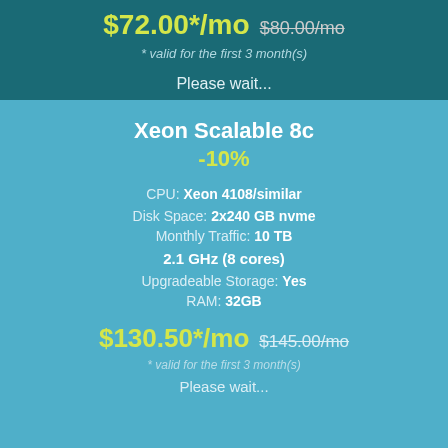$72.00*/mo $80.00/mo
* valid for the first 3 month(s)
Please wait...
Xeon Scalable 8c
-10%
CPU: Xeon 4108/similar
Disk Space: 2x240 GB nvme
Monthly Traffic: 10 TB
2.1 GHz (8 cores)
Upgradeable Storage: Yes
RAM: 32GB
$130.50*/mo $145.00/mo
* valid for the first 3 month(s)
Please wait...